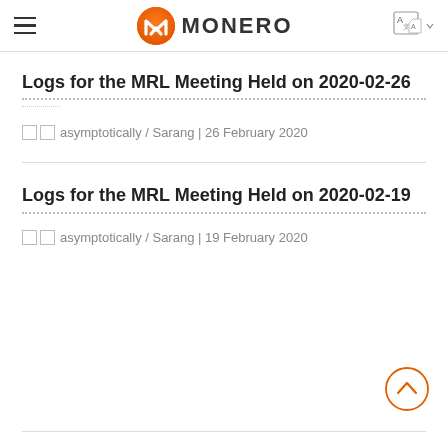MONERO
Logs for the MRL Meeting Held on 2020-02-26
□□ asymptotically / Sarang | 26 February 2020
Logs for the MRL Meeting Held on 2020-02-19
□□ asymptotically / Sarang | 19 February 2020